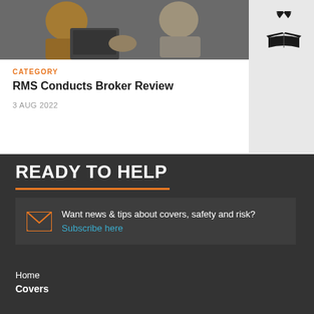[Figure (photo): Photo showing two people at a desk with laptops, partially cropped at the top]
CATEGORY
RMS Conducts Broker Review
3 AUG 2022
[Figure (logo): Black logo with stylized flame/wing design above an open book]
READY TO HELP
Want news & tips about covers, safety and risk? Subscribe here
Home
Covers